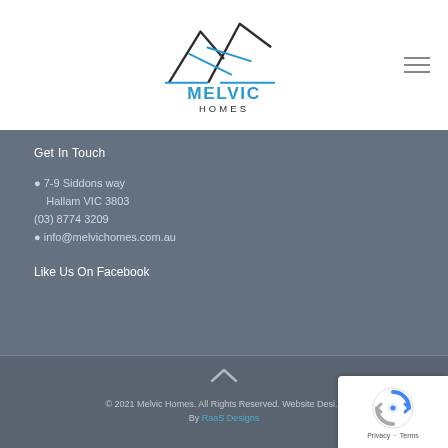[Figure (logo): Melvic Homes logo with mountain peak graphic in dark grey/black and light blue, with text 'MELVIC HOMES' below in dark and light blue]
Get In Touch
📍 7-9 Siddons way
    Hallam VIC 3803
(03) 8774 3209
✉ info@melvichomes.com.au
Like Us On Facebook
© 2021 Melvic Homes. All Rights Reserved. Website Designed By RaaS Designs